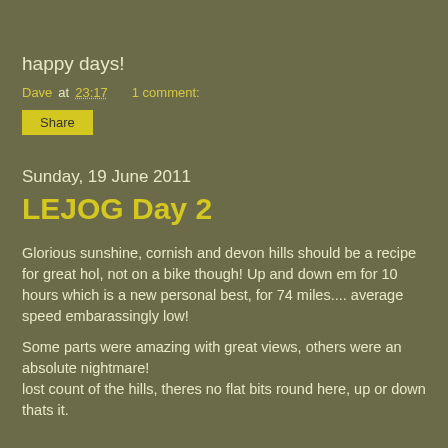happy days!
Dave at 23:17    1 comment:
Share
Sunday, 19 June 2011
LEJOG Day 2
Glorious sunshine, cornish and devon hills should be a recipe for great hol, not on a bike though! Up and down em for 10 hours which is a new personal best, for 74 miles.... average speed embarassingly low!
Some parts were amazing with great views, others were an absolute nightmare!
lost count of the hills, theres no flat bits round here, up or down thats it.